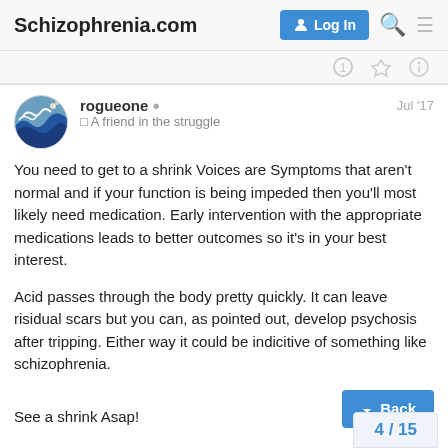Schizophrenia.com
rogueone   A friend in the struggle   Jul '17
You need to get to a shrink Voices are Symptoms that aren't normal and if your function is being impeded then you'll most likely need medication. Early intervention with the appropriate medications leads to better outcomes so it's in your best interest.

Acid passes through the body pretty quickly. It can leave risidual scars but you can, as pointed out, develop psychosis after tripping. Either way it could be indicitive of something like schizophrenia.

See a shrink Asap!
4 / 15